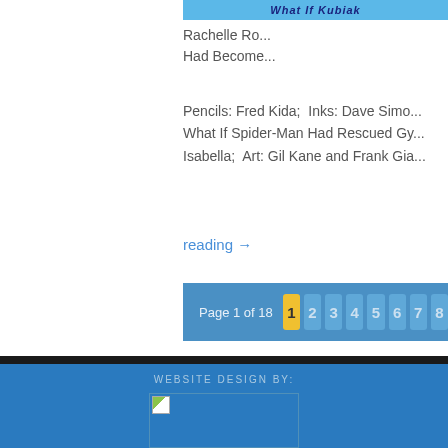[Figure (logo): Comic book / website logo banner in blue with italic bold text]
Rachelle Ro... Had Become...
Pencils: Fred Kida;  Inks: Dave Simo... What If Spider-Man Had Rescued Gy... Isabella;  Art: Gil Kane and Frank Gia...
reading →
Page 1 of 18  1  2  3  4  5  6  7  8
WEBSITE DESIGN BY:
[Figure (logo): Website designer logo image placeholder]